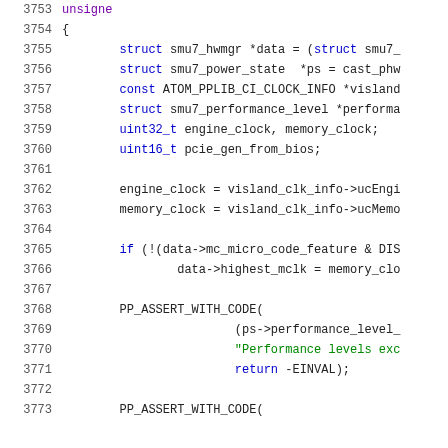3753    unsigne
3754    {
3755        struct smu7_hwmgr *data = (struct smu7_
3756        struct smu7_power_state  *ps = cast_phw
3757        const ATOM_PPLIB_CI_CLOCK_INFO *visland
3758        struct smu7_performance_level *performa
3759        uint32_t engine_clock, memory_clock;
3760        uint16_t pcie_gen_from_bios;
3761
3762        engine_clock = visland_clk_info->ucEngi
3763        memory_clock = visland_clk_info->ucMemo
3764
3765        if (!(data->mc_micro_code_feature & DIS
3766                data->highest_mclk = memory_clo
3767
3768        PP_ASSERT_WITH_CODE(
3769                        (ps->performance_level_
3770                        "Performance levels exc
3771                        return -EINVAL);
3772
3773        PP_ASSERT_WITH_CODE(